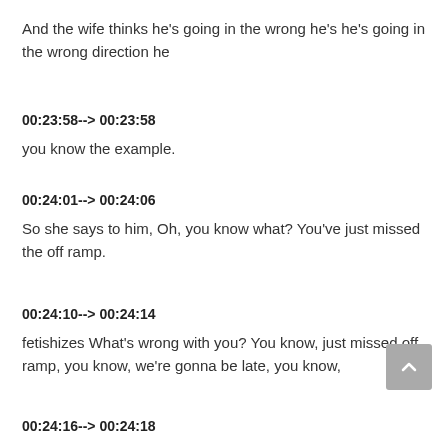And the wife thinks he's going in the wrong he's he's going in the wrong direction he
00:23:58--> 00:23:58
you know the example.
00:24:01--> 00:24:06
So she says to him, Oh, you know what? You've just missed the off ramp.
00:24:10--> 00:24:14
fetishizes What's wrong with you? You know, just missed off ramp, you know, we're gonna be late, you know,
00:24:16--> 00:24:18